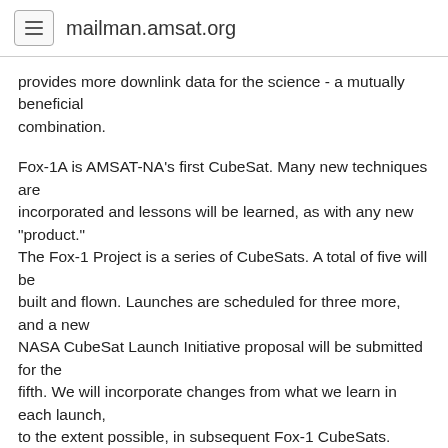mailman.amsat.org
provides more downlink data for the science - a mutually beneficial combination.
Fox-1A is AMSAT-NA's first CubeSat. Many new techniques are incorporated and lessons will be learned, as with any new "product." The Fox-1 Project is a series of CubeSats. A total of five will be built and flown. Launches are scheduled for three more, and a new NASA CubeSat Launch Initiative proposal will be submitted for the fifth. We will incorporate changes from what we learn in each launch, to the extent possible, in subsequent Fox-1 CubeSats.
Of the four NASA sponsored CubeSats on the ELaNa XII launch October